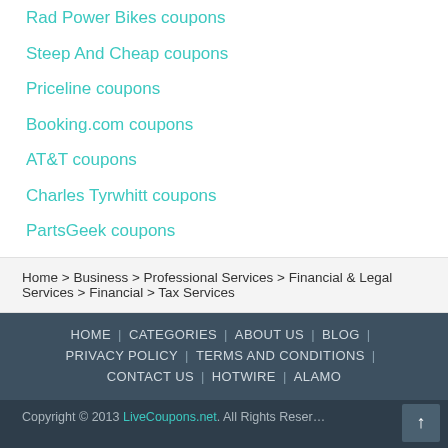Rad Power Bikes coupons
Steep And Cheap coupons
Priceline coupons
Booking.com coupons
AT&T coupons
Charles Tyrwhitt coupons
PartsGeek coupons
Home > Business > Professional Services > Financial & Legal Services > Financial > Tax Services
HOME | CATEGORIES | ABOUT US | BLOG | PRIVACY POLICY | TERMS AND CONDITIONS | CONTACT US | HOTWIRE | ALAMO
Copyright © 2013 LiveCoupons.net. All Rights Reserved.